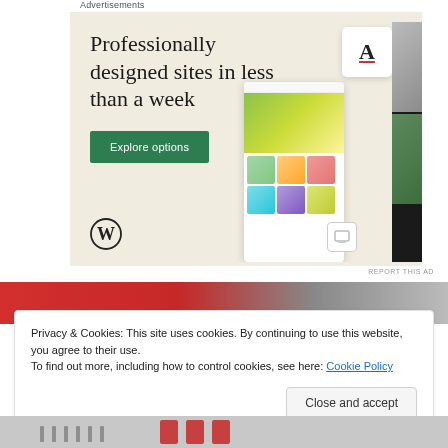Advertisements
[Figure (illustration): WordPress advertisement banner with beige background. Large serif text reads 'Professionally designed sites in less than a week'. Green 'Explore options' button. WordPress logo at bottom left. Mock website screenshots on the right side.]
REPORT THIS AD
[Figure (photo): Partial photo strip showing a red and grey background, partially obscured by cookie notice overlay.]
Privacy & Cookies: This site uses cookies. By continuing to use this website, you agree to their use.
To find out more, including how to control cookies, see here: Cookie Policy
Close and accept
[Figure (photo): Bottom strip of a photo showing partial text in red on grey background.]